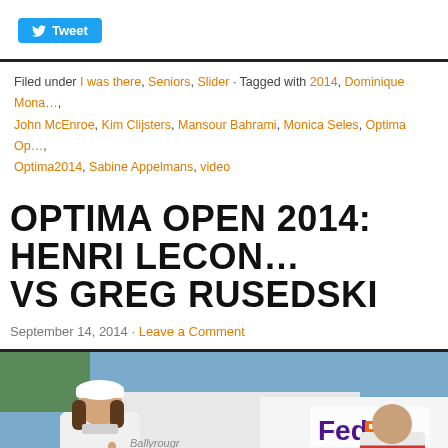Tweet
Filed under I was there, Seniors, Slider · Tagged with 2014, Dominique Mona…, John McEnroe, Kim Clijsters, Mansour Bahrami, Monica Seles, Optima Op…, Optima2014, Sabine Appelmans, video
OPTIMA OPEN 2014: HENRI LECON… VS GREG RUSEDSKI
September 14, 2014 · Leave a Comment
[Figure (photo): Photo of tennis players at the Optima Open 2014 event. A man with long hair wearing a white cap and white jacket stands in the foreground with finger raised. Two other people visible in background with a FedEx sponsor banner behind them.]